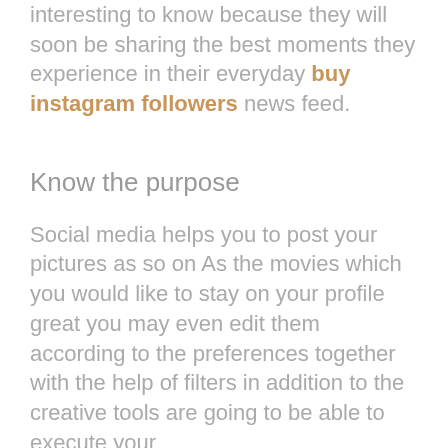interesting to know because they will soon be sharing the best moments they experience in their everyday buy instagram followers news feed.
Know the purpose
Social media helps you to post your pictures as so on As the movies which you would like to stay on your profile great you may even edit them according to the preferences together with the help of filters in addition to the creative tools are going to be able to execute your